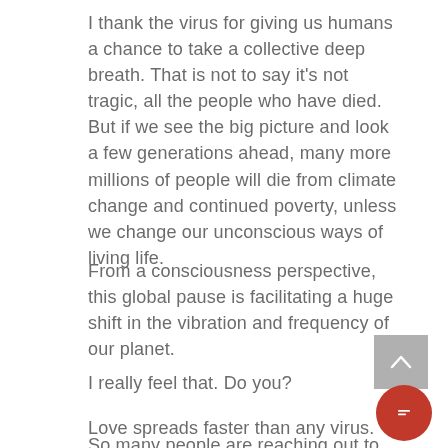I thank the virus for giving us humans a chance to take a collective deep breath. That is not to say it's not tragic, all the people who have died. But if we see the big picture and look a few generations ahead, many more millions of people will die from climate change and continued poverty, unless we change our unconscious ways of living life.
From a consciousness perspective, this global pause is facilitating a huge shift in the vibration and frequency of our planet.
I really feel that. Do you?
Love spreads faster than any virus.
So many people are reaching out to their